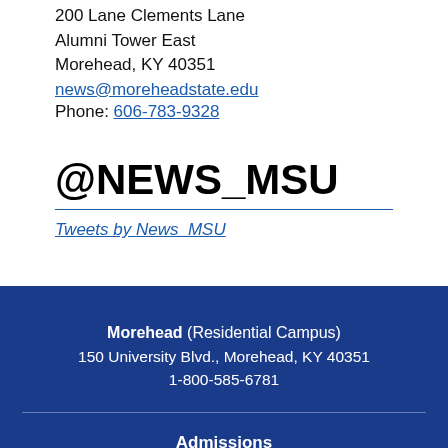200 Lane Clements Lane
Alumni Tower East
Morehead, KY 40351
news@moreheadstate.edu
Phone: 606-783-9328
@NEWS_MSU
Tweets by News_MSU
Morehead (Residential Campus)
150 University Blvd., Morehead, KY 40351
1-800-585-6781
Admissions
121 E. Second St., Morehead, KY 40351
1-800-585-6781